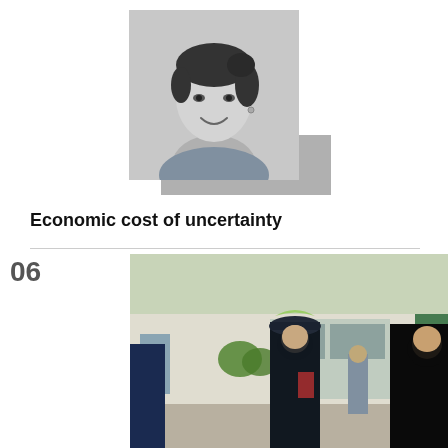[Figure (photo): Black and white portrait photograph of a smiling woman with dark hair pulled back, wearing a blue garment, against a light background with a grey shadow/mat beneath.]
Economic cost of uncertainty
06
[Figure (photo): Colour photograph of a female police officer in black uniform and cap checking identification of a woman in a black abaya, outside a building with greenery. Another uniformed officer visible in the background.]